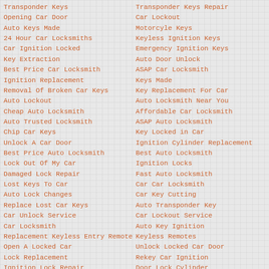Transponder Keys
Opening Car Door
Auto Keys Made
24 Hour Car Locksmiths
Car Ignition Locked
Key Extraction
Best Price Car Locksmith
Ignition Replacement
Removal Of Broken Car Keys
Auto Lockout
Cheap Auto Locksmith
Auto Trusted Locksmith
Chip Car Keys
Unlock A Car Door
Best Price Auto Locksmith
Lock Out Of My Car
Damaged Lock Repair
Lost Keys To Car
Auto Lock Changes
Replace Lost Car Keys
Car Unlock Service
Car Locksmith
Replacement Keyless Entry Remote
Open A Locked Car
Lock Replacement
Ignition Lock Repair
24 Hour Lockout Assistance
24 Hour Locksmiths
Transponder Keys Repair
Car Lockout
Motorcyle Keys
Keyless Ignition Keys
Emergency Ignition Keys
Auto Door Unlock
ASAP Car Locksmith
Keys Made
Key Replacement For Car
Auto Locksmith Near You
Affordable Car Locksmith
ASAP Auto Locksmith
Key Locked in Car
Ignition Cylinder Replacement
Best Auto Locksmith
Ignition Locks
Fast Auto Locksmith
Car Car Locksmith
Car Key Cutting
Auto Transponder Key
Car Lockout Service
Auto Key Ignition
Keyless Remotes
Unlock Locked Car Door
Rekey Car Ignition
Door Lock Cylinder
Car Trusted Locksmith
Discount Auto Locksmith